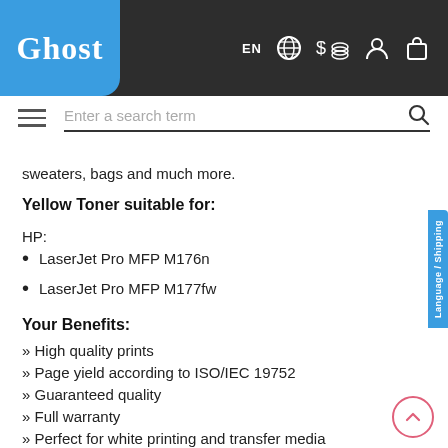Ghost — EN $ Language/Shipping
sweaters, bags and much more.
Yellow Toner suitable for:
HP:
LaserJet Pro MFP M176n
LaserJet Pro MFP M177fw
Your Benefits:
High quality prints
Page yield according to ISO/IEC 19752
Guaranteed quality
Full warranty
Perfect for white printing and transfer media